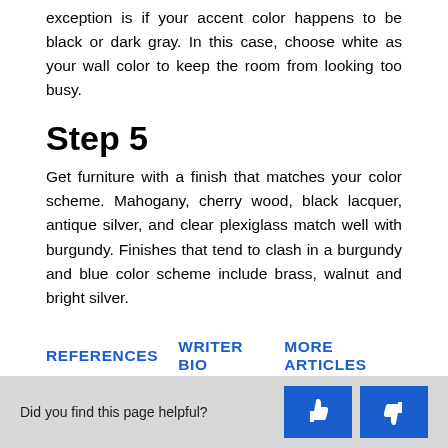exception is if your accent color happens to be black or dark gray. In this case, choose white as your wall color to keep the room from looking too busy.
Step 5
Get furniture with a finish that matches your color scheme. Mahogany, cherry wood, black lacquer, antique silver, and clear plexiglass match well with burgundy. Finishes that tend to clash in a burgundy and blue color scheme include brass, walnut and bright silver.
REFERENCES
WRITER BIO
MORE ARTICLES
Did you find this page helpful?